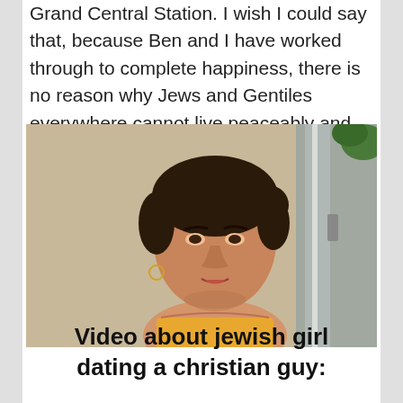Grand Central Station. I wish I could say that, because Ben and I have worked through to complete happiness, there is no reason why Jews and Gentiles everywhere cannot live peaceably and happily side by side.
[Figure (photo): A woman with dark hair pulled back, speaking or talking, standing near a wall with graffiti and a metal pole or door frame to her right. Outdoor setting with natural lighting.]
Video about jewish girl dating a christian guy: